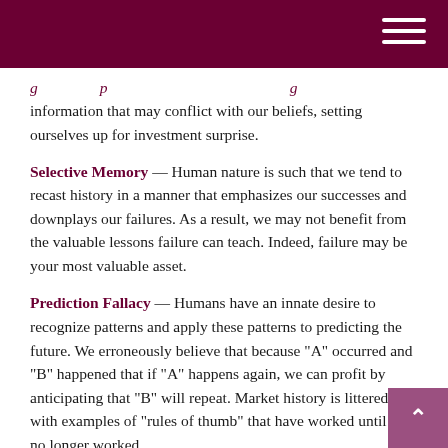information that may conflict with our beliefs, setting ourselves up for investment surprise.
Selective Memory — Human nature is such that we tend to recast history in a manner that emphasizes our successes and downplays our failures. As a result, we may not benefit from the valuable lessons failure can teach. Indeed, failure may be your most valuable asset.
Prediction Fallacy — Humans have an innate desire to recognize patterns and apply these patterns to predicting the future. We erroneously believe that because "A" occurred and "B" happened that if "A" happens again, we can profit by anticipating that "B" will repeat. Market history is littered with examples of "rules of thumb" that have worked until they no longer worked.